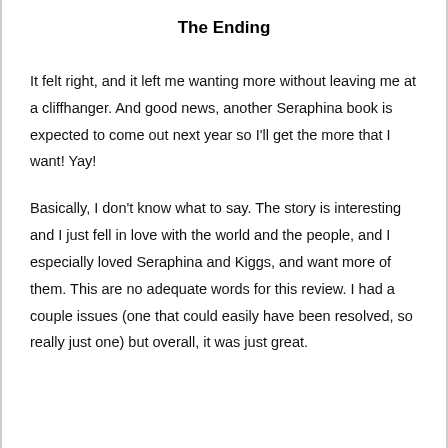The Ending
It felt right, and it left me wanting more without leaving me at a cliffhanger. And good news, another Seraphina book is expected to come out next year so I’ll get the more that I want! Yay!
Basically, I don’t know what to say. The story is interesting and I just fell in love with the world and the people, and I especially loved Seraphina and Kiggs, and want more of them. This are no adequate words for this review. I had a couple issues (one that could easily have been resolved, so really just one) but overall, it was just great.